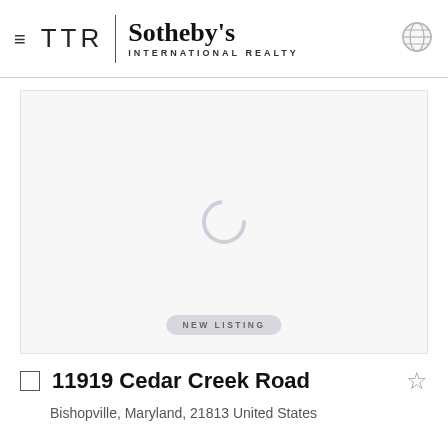TTR | Sotheby's INTERNATIONAL REALTY
[Figure (photo): Property image loading placeholder with spinning loader icon and 'NEW LISTING' badge overlay at bottom center]
11919 Cedar Creek Road
Bishopville, Maryland, 21813 United States